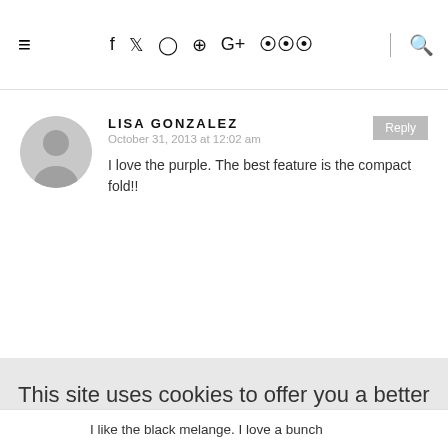≡  f  🐦  ○  ⊕  G+  )))  🔍
LISA GONZALEZ
October 31, 2013 at 12:02 am
I love the purple. The best feature is the compact fold!!
This site uses cookies to offer you a better browsing experience, analyze site traffic, personalize content, and serve targeted advertisements. If you continue to use this site, you consent to our use of cookies.
Learn more
I AGREE
I like the black melange. I love a bunch